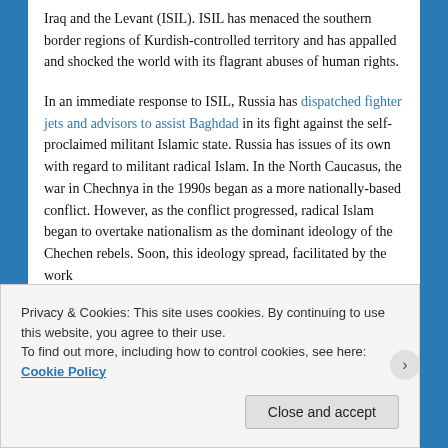Iraq and the Levant (ISIL). ISIL has menaced the southern border regions of Kurdish-controlled territory and has appalled and shocked the world with its flagrant abuses of human rights.
In an immediate response to ISIL, Russia has dispatched fighter jets and advisors to assist Baghdad in its fight against the self-proclaimed militant Islamic state. Russia has issues of its own with regard to militant radical Islam. In the North Caucasus, the war in Chechnya in the 1990s began as a more nationally-based conflict. However, as the conflict progressed, radical Islam began to overtake nationalism as the dominant ideology of the Chechen rebels. Soon, this ideology spread, facilitated by the work
Privacy & Cookies: This site uses cookies. By continuing to use this website, you agree to their use.
To find out more, including how to control cookies, see here: Cookie Policy